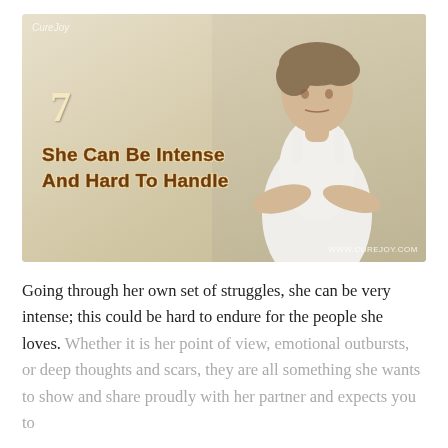[Figure (photo): Photo of a young woman with short brown hair, arms crossed, wearing a white dress, with a serious expression. Text overlay shows '7' and 'She Can Be Intense And Hard To Handle'. Watermark reads 'WWW.CUREJOY.COM'.]
Going through her own set of struggles, she can be very intense; this could be hard to endure for the people she loves. Whether it is her point of view, emotional outbursts, or deep thoughts and scars, they are all something she wants to show and share proudly with her partner and expects you to